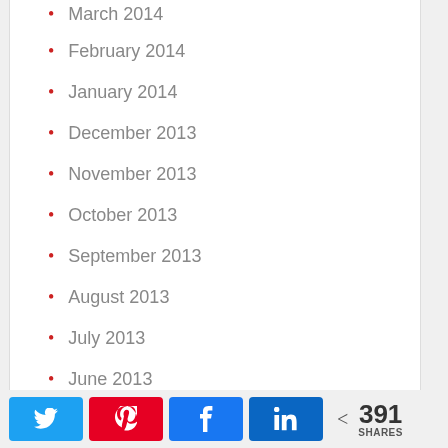March 2014
February 2014
January 2014
December 2013
November 2013
October 2013
September 2013
August 2013
July 2013
June 2013
May 2013
April 2013
391 SHARES (Twitter, Pinterest, Facebook, LinkedIn share buttons)